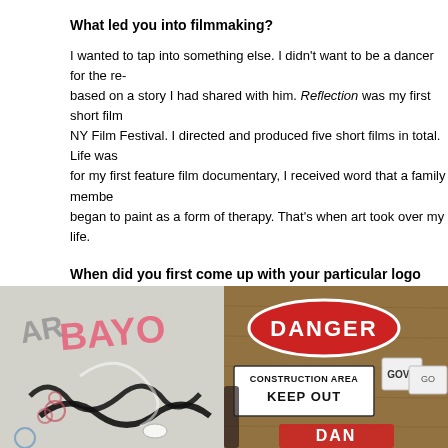What led you into filmmaking?
I wanted to tap into something else. I didn't want to be a dancer for the re- based on a story I had shared with him. Reflection was my first short film NY Film Festival. I directed and produced five short films in total. Life was for my first feature film documentary, I received word that a family membe began to paint as a form of therapy. That's when art took over my life.
When did you first come up with your particular logo “MAKE ART?”
Ten years ago — when I first stepped into the art scene. I wanted to get a “MAKE ART” incorporates art, film, and dance. It also serves as a remind a distinct way so people know that it’s me. I sign all of my pieces with my
[Figure (photo): Two side-by-side photos. Left: a graffiti-covered wall with colorful tags including pink and black lettering. Right: a person holding DANGER and CONSTRUCTION AREA KEEP OUT signs against a wooden background.]